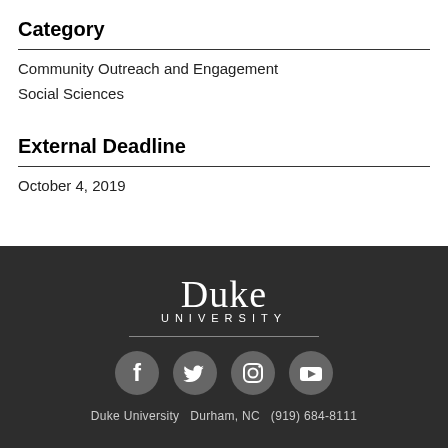Category
Community Outreach and Engagement
Social Sciences
External Deadline
October 4, 2019
[Figure (logo): Duke University logo with social media icons (Facebook, Twitter, Instagram, YouTube) and contact info: Duke University  Durham, NC  (919) 684-8111]